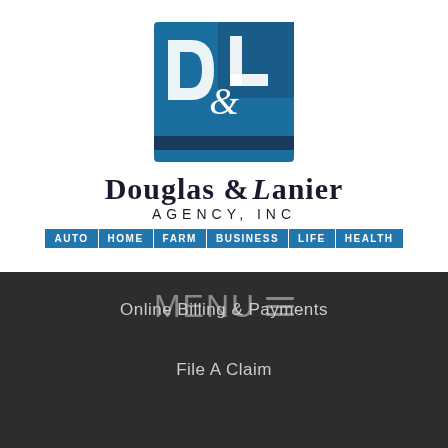[Figure (logo): Douglas & Lanier Agency Inc logo - square blue icon with D and L letters and ampersand, followed by company name and service bar (AUTO HOME FARM BUSINESS LIFE HEALTH)]
MENU ≡
Online Billing & Payments
File A Claim